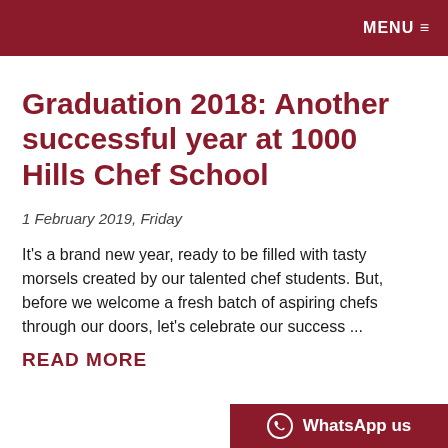MENU ≡
Graduation 2018: Another successful year at 1000 Hills Chef School
1 February 2019, Friday
It's a brand new year, ready to be filled with tasty morsels created by our talented chef students. But, before we welcome a fresh batch of aspiring chefs through our doors, let's celebrate our success ...
READ MORE
WhatsApp us